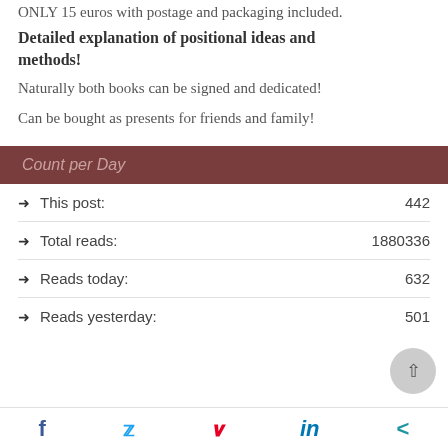ONLY 15 euros with postage and packaging included.
Detailed explanation of positional ideas and methods!
Naturally both books can be signed and dedicated!
Can be bought as presents for friends and family!
Count per Day
This post: 442
Total reads: 1880336
Reads today: 632
Reads yesterday: 501